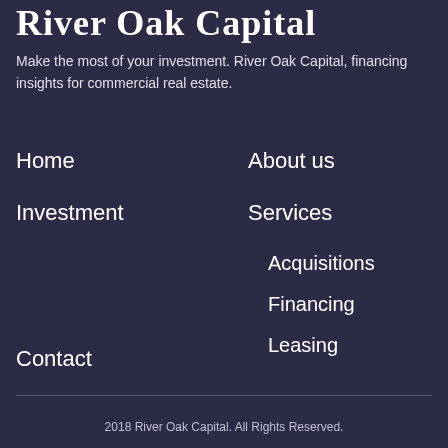River Oak Capital
Make the most of your investment. River Oak Capital, financing insights for commercial real estate.
Home
About us
Investment
Services
Acquisitions
Financing
Leasing
Contact
2018 River Oak Capital. All Rights Reserved.